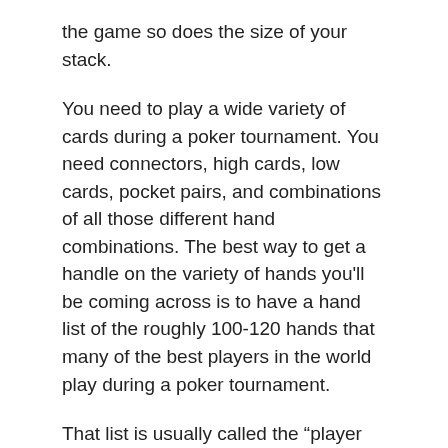the game so does the size of your stack.
You need to play a wide variety of cards during a poker tournament. You need connectors, high cards, low cards, pocket pairs, and combinations of all those different hand combinations. The best way to get a handle on the variety of hands you'll be coming across is to have a hand list of the roughly 100-120 hands that many of the best players in the world play during a poker tournament.
That list is usually called the “player list.” The player list is usually printed on a piece of paper and includes the number of players, the name of the poker tournament, the name of the poker room, and the stakes used. Most tournaments start with 2 to 4 poker players and have 4 to 8 poker players in the tournament. A poker tournament may be online or offline. Usually you'll be playing in multiple poker rooms during the poker